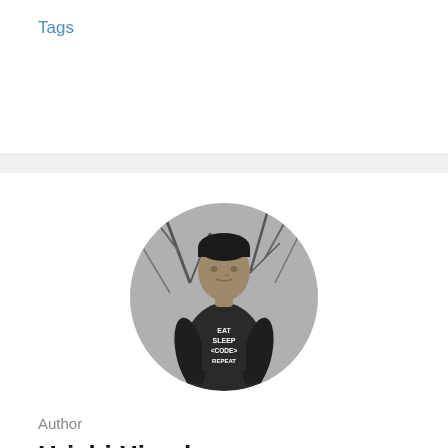Tags
[Figure (photo): Black and white circular profile photo of a man wearing a t-shirt that reads EAT SLEEP CODE REPEAT, standing in front of trees]
Author
Hrishi Hiraskar
I'm CodeCrazy. I love Computer.